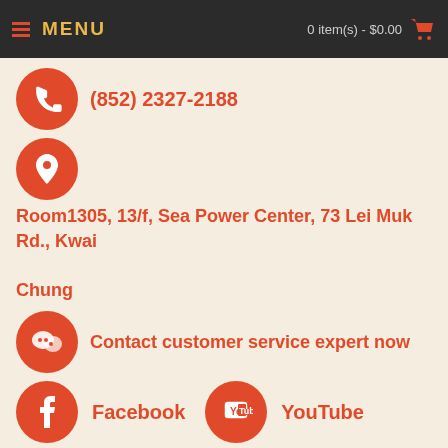MENU | 0 item(s) - $0.00
(852) 2327-2188
Room1305, 13/f, Sea Power Center, 73 Lei Muk Rd., Kwai Chung
Contact customer service expert now
Facebook
YouTube
Copyright © 2019, Pedag Hong Kong, All Rights Reserved.